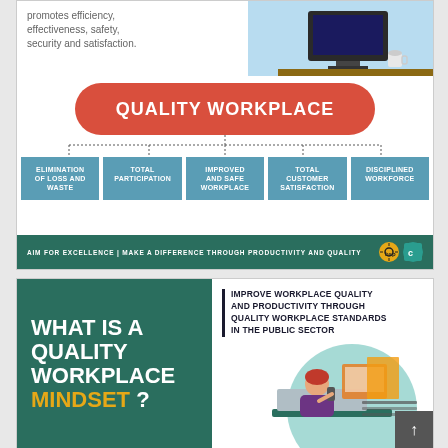[Figure (infographic): Quality Workplace infographic showing a red rounded rectangle banner labeled 'QUALITY WORKPLACE' with five teal boxes below connected by dashed lines: ELIMINATION OF LOSS AND WASTE, TOTAL PARTICIPATION, IMPROVED AND SAFE WORKPLACE, TOTAL CUSTOMER SATISFACTION, DISCIPLINED WORKFORCE. Bottom green bar reads 'AIM FOR EXCELLENCE | MAKE A DIFFERENCE THROUGH PRODUCTIVITY AND QUALITY' with logos. Top section shows text about promoting efficiency, effectiveness, safety, security and satisfaction with a desk illustration.]
[Figure (infographic): Green card with white bold text 'WHAT IS A QUALITY WORKPLACE' and yellow bold text 'MINDSET ?' on left. Right side has text 'IMPROVE WORKPLACE QUALITY AND PRODUCTIVITY THROUGH QUALITY WORKPLACE STANDARDS IN THE PUBLIC SECTOR' with a vertical dark left border, and an illustration of a woman on phone at laptop with documents on teal circle background.]